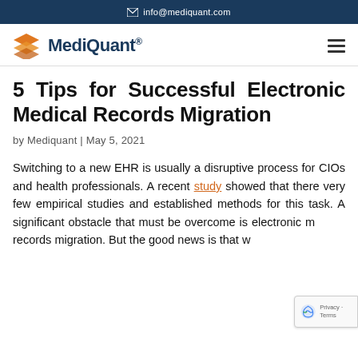info@mediquant.com
[Figure (logo): MediQuant logo with orange layered diamond icon and dark blue MediQuant® wordmark]
5 Tips for Successful Electronic Medical Records Migration
by Mediquant | May 5, 2021
Switching to a new EHR is usually a disruptive process for CIOs and health professionals. A recent study showed that there very few empirical studies and established methods for this task. A significant obstacle that must be overcome is electronic medical records migration. But the good news is that we have compiled some of the most well-proven methods.